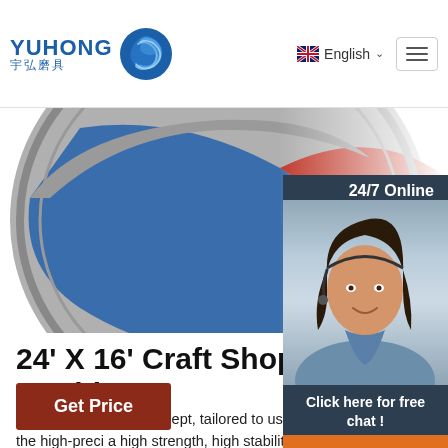[Figure (logo): YUHONG 宇弘磨具 logo with blue wave icon]
[Figure (screenshot): Navigation bar with English language selector and hamburger menu]
[Figure (photo): Partial product image of an abrasive cutting wheel with safety text]
[Figure (photo): 24/7 Online chat widget with agent photo, 'Click here for free chat!' text, and orange QUOTATION button]
24' X 16' Craft Shop 40W CO2 Las... Machine
Specialized design concept, tailored to users industries, reasonable structure, beautiful ap practicality. The profile cast by the high-preci a high strength, high stability mechanical stru numerical control movement, high speed, high precision. The design concept of front-to-back penetration of the machine body can facilitate front-to-back ...
[Figure (other): Orange 'Get Price' button]
[Figure (other): TOP back-to-top arrow icon in orange]